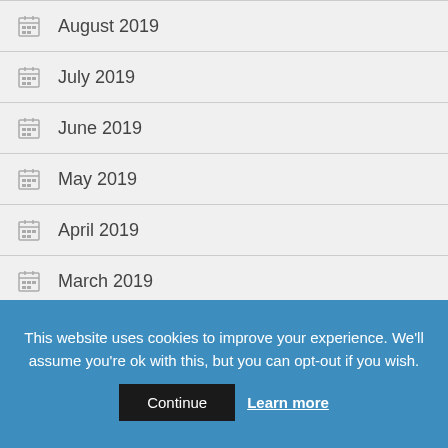August 2019
July 2019
June 2019
May 2019
April 2019
March 2019
February 2019
This website uses cookies to improve your experience. We'll assume you're ok with this, but you can opt-out if you wish.
Continue  Learn more